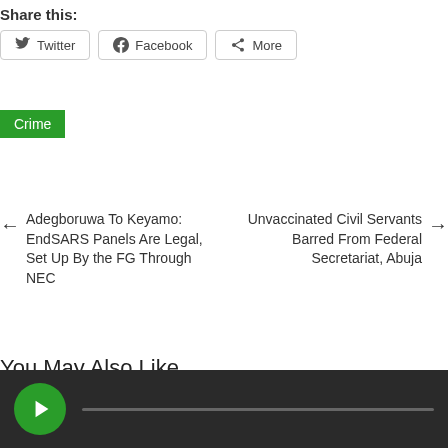Share this:
Twitter
Facebook
More
Crime
Adegboruwa To Keyamo: EndSARS Panels Are Legal, Set Up By the FG Through NEC
Unvaccinated Civil Servants Barred From Federal Secretariat, Abuja
You May Also Like
[Figure (other): Audio/video player bar with green play button and progress bar on dark background]